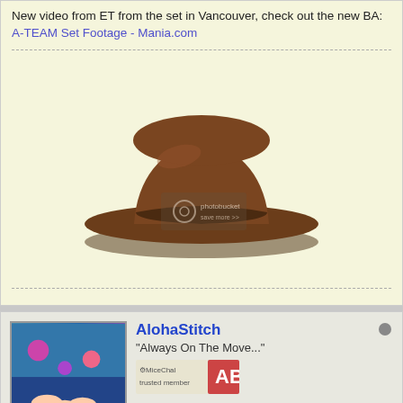New video from ET from the set in Vancouver, check out the new BA:
A-TEAM Set Footage - Mania.com
[Figure (photo): A brown fedora-style hat shown on a light yellow background, with a photobucket watermark overlay in the center.]
AlohaStitch
"Always On The Move..."
Join Date: Jun 2005    Posts: 1835
10-23-2009, 04:17 PM
#10
Re: The A-Team -June 11, 2010-